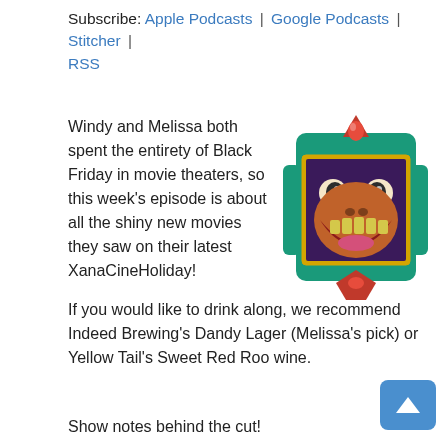Subscribe: Apple Podcasts | Google Podcasts | Stitcher | RSS
Windy and Melissa both spent the entirety of Black Friday in movie theaters, so this week's episode is about all the shiny new movies they saw on their latest XanaCineHoliday!
[Figure (illustration): Animated movie character in a decorative teal and gold frame with a red gem at top, showing a bug-like creature with a wide open mouth and large eyes]
If you would like to drink along, we recommend Indeed Brewing's Dandy Lager (Melissa's pick) or Yellow Tail's Sweet Red Roo wine.
Show notes behind the cut!